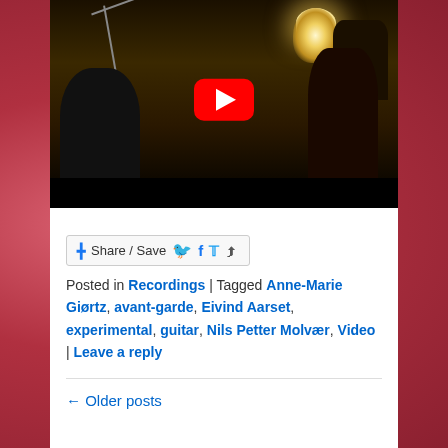[Figure (screenshot): YouTube video thumbnail showing a dark concert/performance scene with a person playing guitar near a lamp on the right, microphone stand on the left, with the YouTube red play button overlay in the center.]
[Figure (other): Share / Save button with Facebook, Twitter, and share icons]
Posted in Recordings | Tagged Anne-Marie Giørtz, avant-garde, Eivind Aarset, experimental, guitar, Nils Petter Molvær, Video | Leave a reply
← Older posts